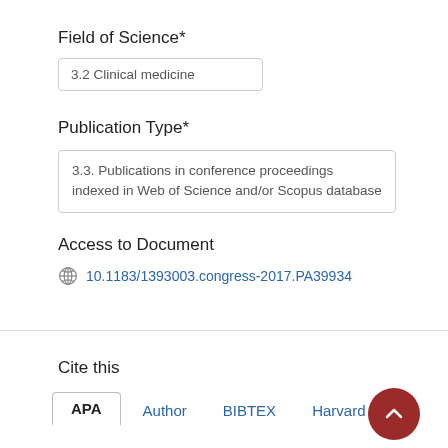Field of Science*
3.2 Clinical medicine
Publication Type*
3.3. Publications in conference proceedings indexed in Web of Science and/or Scopus database
Access to Document
10.1183/1393003.congress-2017.PA39934
Cite this
APA  Author  BIBTEX  Harvard  ...